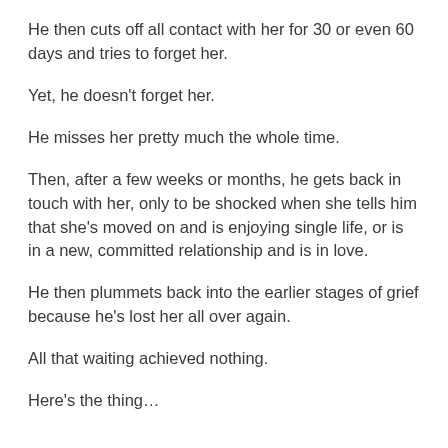He then cuts off all contact with her for 30 or even 60 days and tries to forget her.
Yet, he doesn't forget her.
He misses her pretty much the whole time.
Then, after a few weeks or months, he gets back in touch with her, only to be shocked when she tells him that she's moved on and is enjoying single life, or is in a new, committed relationship and is in love.
He then plummets back into the earlier stages of grief because he's lost her all over again.
All that waiting achieved nothing.
Here's the thing…